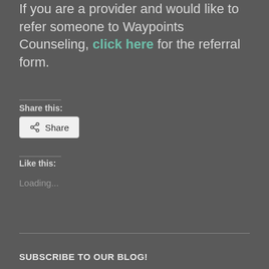If you are a provider and would like to refer someone to Waypoints Counseling, click here for the referral form.
Share this:
[Figure (other): Share button with share icon]
Like this:
Loading...
SUBSCRIBE TO OUR BLOG!